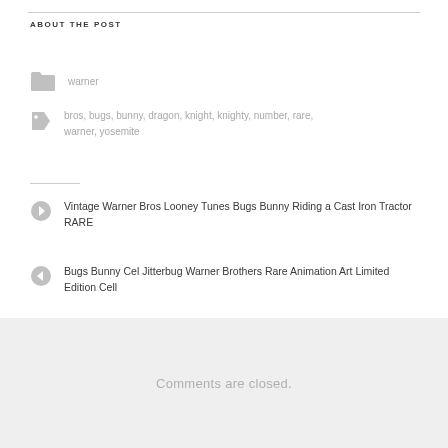ABOUT THE POST
warner
bros, bugs, bunny, dragon, knight, knighty, number, rare, warner, yosemite
Vintage Warner Bros Looney Tunes Bugs Bunny Riding a Cast Iron Tractor RARE
Bugs Bunny Cel Jitterbug Warner Brothers Rare Animation Art Limited Edition Cell
Comments are closed.